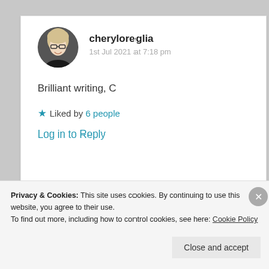cheryloreglia
1st Jul 2021 at 7:18 pm
Brilliant writing, C
Liked by 6 people
Log in to Reply
Privacy & Cookies: This site uses cookies. By continuing to use this website, you agree to their use.
To find out more, including how to control cookies, see here: Cookie Policy
Close and accept